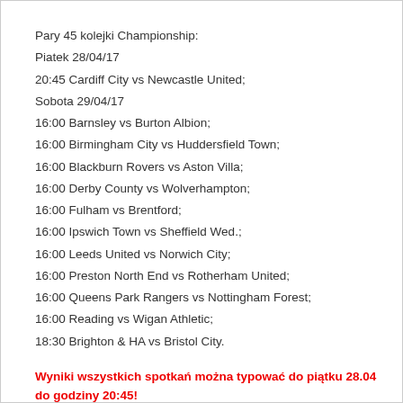Pary 45 kolejki Championship:
Piatek 28/04/17
20:45 Cardiff City vs Newcastle United;
Sobota 29/04/17
16:00 Barnsley vs Burton Albion;
16:00 Birmingham City vs Huddersfield Town;
16:00 Blackburn Rovers vs Aston Villa;
16:00 Derby County vs Wolverhampton;
16:00 Fulham vs Brentford;
16:00 Ipswich Town vs Sheffield Wed.;
16:00 Leeds United vs Norwich City;
16:00 Preston North End vs Rotherham United;
16:00 Queens Park Rangers vs Nottingham Forest;
16:00 Reading vs Wigan Athletic;
18:30 Brighton & HA vs Bristol City.
Wyniki wszystkich spotkań można typować do piątku 28.04 do godziny 20:45!